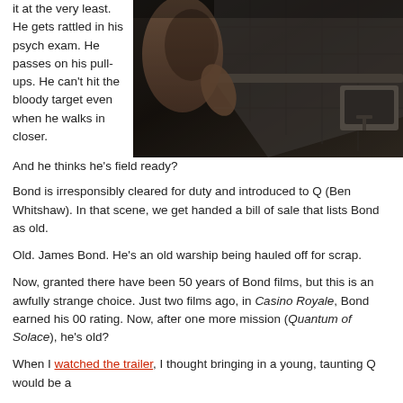it at the very least. He gets rattled in his psych exam. He passes on his pull-ups. He can't hit the bloody target even when he walks in closer.
[Figure (photo): A dark, moody photo of a shirtless man seen from above in what appears to be a bathroom with tiled walls and a sink visible.]
And he thinks he's field ready?
Bond is irresponsibly cleared for duty and introduced to Q (Ben Whitshaw). In that scene, we get handed a bill of sale that lists Bond as old.
Old. James Bond. He's an old warship being hauled off for scrap.
Now, granted there have been 50 years of Bond films, but this is an awfully strange choice. Just two films ago, in Casino Royale, Bond earned his 00 rating. Now, after one more mission (Quantum of Solace), he's old?
When I watched the trailer, I thought bringing in a young, taunting Q would be a